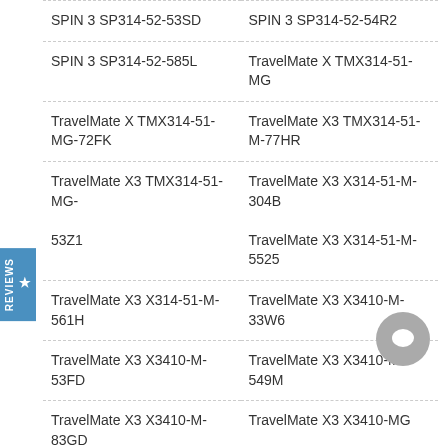| SPIN 3 SP314-52-53SD | SPIN 3 SP314-52-54R2 |
| SPIN 3 SP314-52-585L | TravelMate X TMX314-51-MG |
| TravelMate X TMX314-51-MG-72FK | TravelMate X3 TMX314-51-M-77HR |
| TravelMate X3 TMX314-51-MG-53Z1 | TravelMate X3 X314-51-M-304B
TravelMate X3 X314-51-M-5525 |
| TravelMate X3 X314-51-M-561H | TravelMate X3 X3410-M-33W6 |
| TravelMate X3 X3410-M-53FD | TravelMate X3 X3410-M-549M |
| TravelMate X3 X3410-M-83GD | TravelMate X3 X3410-MG |
| TravelMate X3 X3410-MG-3729 |  |
*BatteryBuy.co.nz doesn't affiliate with any of the manufacturers listed. Any registered trademarks or model names listed above are identified as purposes of showing compatibility only.
Not all compatible models are listed. If you can't find your model